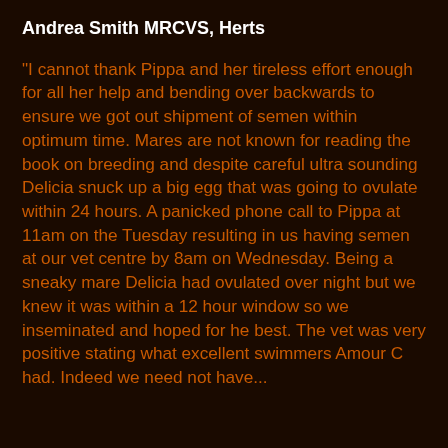Andrea Smith MRCVS, Herts
"I cannot thank Pippa and her tireless effort enough for all her help and bending over backwards to ensure we got out shipment of semen within optimum time. Mares are not known for reading the book on breeding and despite careful ultra sounding Delicia snuck up a big egg that was going to ovulate within 24 hours. A panicked phone call to Pippa at 11am on the Tuesday resulting in us having semen at our vet centre by 8am on Wednesday. Being a sneaky mare Delicia had ovulated over night but we knew it was within a 12 hour window so we inseminated and hoped for he best. The vet was very positive stating what excellent swimmers Amour C had. Indeed we need not have...